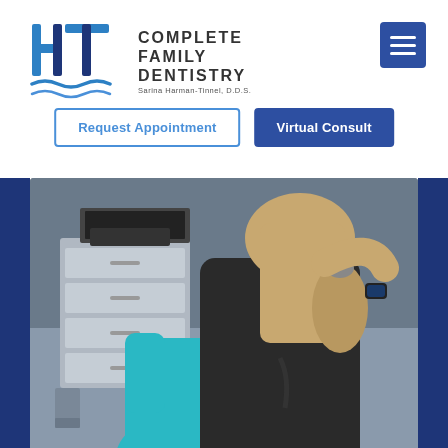[Figure (logo): HT Complete Family Dentistry logo with stylized H and T letters in blue and a wave graphic, beside text reading COMPLETE FAMILY DENTISTRY, Sarina Harman-Tinnel, D.D.S.]
[Figure (screenshot): Hamburger menu icon (three horizontal white lines) on a dark blue square button in the upper right corner]
Request Appointment
Virtual Consult
[Figure (photo): A dental office scene showing the back view of a dental professional in teal scrubs and a patient in a black jacket, with a gray storage cabinet and computer keyboard visible in the background]